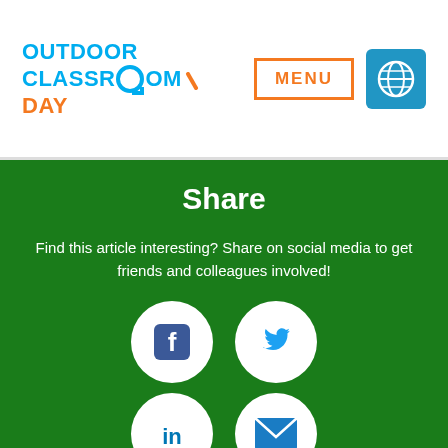OUTDOOR CLASSROOM DAY — MENU — Globe icon
Share
Find this article interesting? Share on social media to get friends and colleagues involved!
[Figure (illustration): Social media share icons: Facebook, Twitter, LinkedIn, Email as circular white buttons on green background]